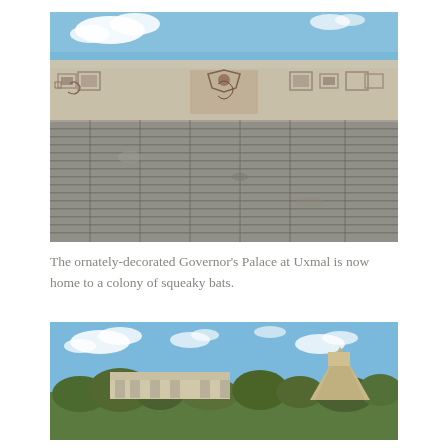[Figure (photo): Close-up photograph of the ornately decorated upper facade of the Governor's Palace at Uxmal, showing intricate Mayan stone carvings and geometric patterns on the frieze, above large stone block steps, with blue sky and clouds in background.]
The ornately-decorated Governor's Palace at Uxmal is now home to a colony of squeaky bats.
[Figure (photo): Wide-angle landscape photograph of Uxmal ruins showing the Governor's Palace building on the left and the Pyramid of the Magician on the right, with trees in the foreground and blue sky with clouds above.]